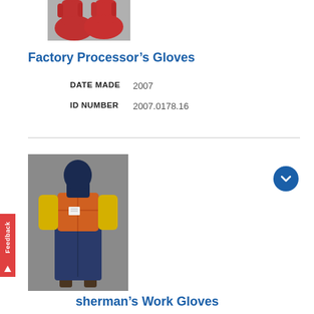[Figure (photo): Red rubber gloves photograph, partially visible at top of page]
Factory Processor’s Gloves
| DATE MADE | 2007 |
| ID NUMBER | 2007.0178.16 |
[Figure (photo): Full mannequin outfit showing orange life vest over yellow long-sleeve shirt, dark blue waterproof overalls, and boots]
sherman’s Work Gloves
| DATE MADE | ca 2007 |
| MAKER | Showa Co. |